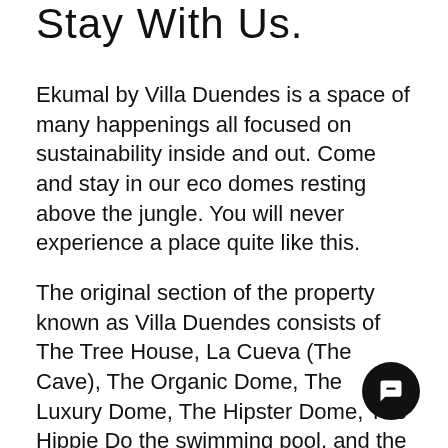Stay With Us.
Ekumal by Villa Duendes is a space of many happenings all focused on sustainability inside and out. Come and stay in our eco domes resting above the jungle. You will never experience a place quite like this.
The original section of the property known as Villa Duendes consists of The Tree House, La Cueva (The Cave), The Organic Dome, The Luxury Dome, The Hipster Dome, The Hippie Do… the swimming pool, and the